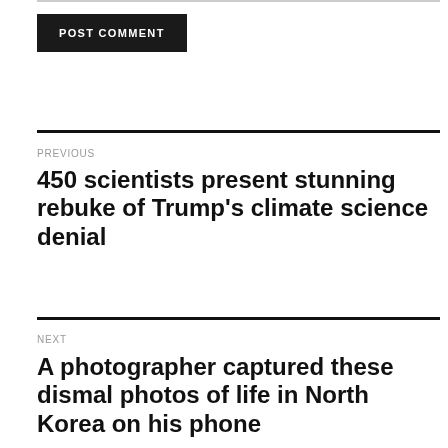POST COMMENT
PREVIOUS
450 scientists present stunning rebuke of Trump’s climate science denial
NEXT
A photographer captured these dismal photos of life in North Korea on his phone